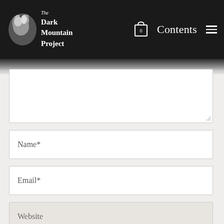The Dark Mountain Project — Contents
[Figure (screenshot): Website comment form with textarea (partially visible), Name*, Email*, Website input fields, and Post Comment button on a marble-textured background]
Name*
Email*
Website
Post Comment